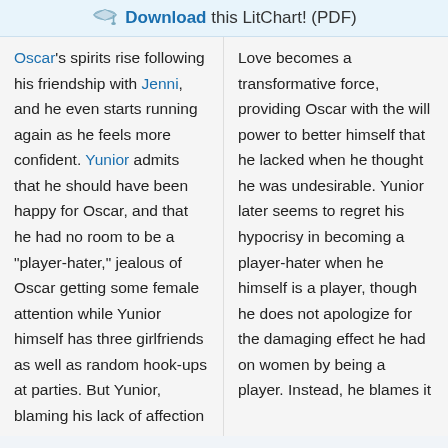Download this LitChart! (PDF)
Oscar's spirits rise following his friendship with Jenni, and he even starts running again as he feels more confident. Yunior admits that he should have been happy for Oscar, and that he had no room to be a “player-hater,” jealous of Oscar getting some female attention while Yunior himself has three girlfriends as well as random hook-ups at parties. But Yunior, blaming his lack of affection
Love becomes a transformative force, providing Oscar with the will power to better himself that he lacked when he thought he was undesirable. Yunior later seems to regret his hypocrisy in becoming a player-hater when he himself is a player, though he does not apologize for the damaging effect he had on women by being a player. Instead, he blames it